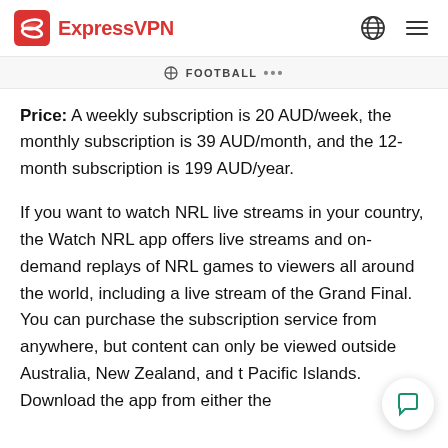ExpressVPN
FOOTBALL
Price: A weekly subscription is 20 AUD/week, the monthly subscription is 39 AUD/month, and the 12-month subscription is 199 AUD/year.
If you want to watch NRL live streams in your country, the Watch NRL app offers live streams and on-demand replays of NRL games to viewers all around the world, including a live stream of the Grand Final. You can purchase the subscription service from anywhere, but content can only be viewed outside Australia, New Zealand, and the Pacific Islands. Download the app from either the